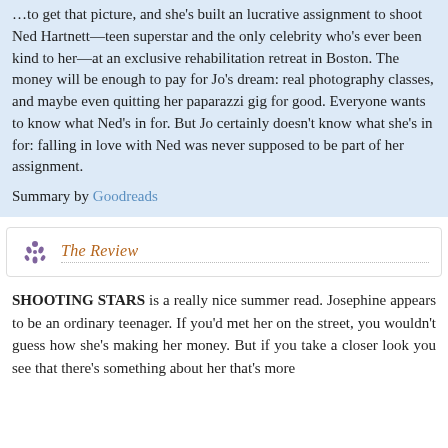…to get that picture, and she's built an lucrative assignment to shoot Ned Hartnett—teen superstar and the only celebrity who's ever been kind to her—at an exclusive rehabilitation retreat in Boston. The money will be enough to pay for Jo's dream: real photography classes, and maybe even quitting her paparazzi gig for good. Everyone wants to know what Ned's in for. But Jo certainly doesn't know what she's in for: falling in love with Ned was never supposed to be part of her assignment.
Summary by Goodreads
The Review
SHOOTING STARS is a really nice summer read. Josephine appears to be an ordinary teenager. If you'd met her on the street, you wouldn't guess how she's making her money. But if you take a closer look you see that there's something about her that's more